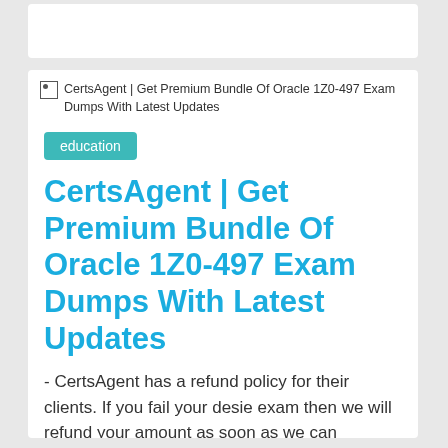[Figure (screenshot): Broken image placeholder with alt text: CertsAgent | Get Premium Bundle Of Oracle 1Z0-497 Exam Dumps With Latest Updates]
education
CertsAgent | Get Premium Bundle Of Oracle 1Z0-497 Exam Dumps With Latest Updates
- CertsAgent has a refund policy for their clients. If you fail your desie exam then we will refund your amount as soon as we can